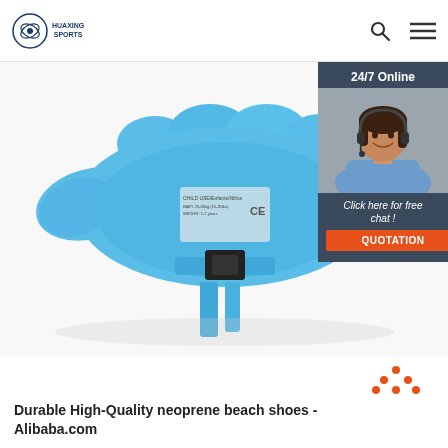HUAXING SPORTS
[Figure (photo): Blue neoprene children's swim float / puddle jumper life jacket with adjustable buckle strap, showing CE certification label on the back. Photographed on white background.]
[Figure (photo): Chat widget showing a smiling female customer service representative wearing a headset, with '24/7 Online' header bar and 'Click here for free chat!' text and orange QUOTATION button, on dark navy background.]
[Figure (logo): Red and orange 'TOP' arrow logo button in bottom right area]
Durable High-Quality neoprene beach shoes - Alibaba.com